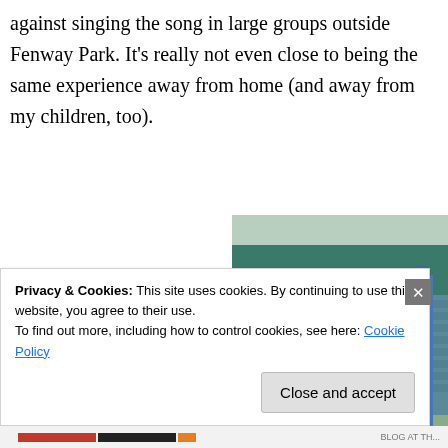against singing the song in large groups outside Fenway Park. It's really not even close to being the same experience away from home (and away from my children, too).
11. Like at Fenway, there were a lot of kids in the Tokyo Dome, and also like at Fenway, many of them were wearing Red Sox t-shirts. Of course, 75% of them were Matsuzaka and Okajima
[Figure (photo): A child wearing a red Matsuzaka jersey seen from behind, sitting in stadium seats. The child wears a dark hat with round ears. Out of focus baseball stadium background visible.]
Privacy & Cookies: This site uses cookies. By continuing to use this website, you agree to their use.
To find out more, including how to control cookies, see here: Cookie Policy
Close and accept